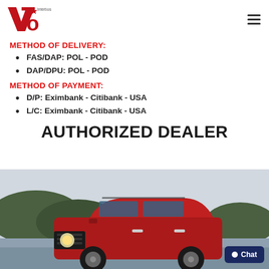[Figure (logo): VTO Interbos logo with red stylized letters V, T, O and star, with 'Interbos' text]
METHOD OF DELIVERY:
FAS/DAP: POL - POD
DAP/DPU: POL - POD
METHOD OF PAYMENT:
D/P: Eximbank - Citibank - USA
L/C: Eximbank - Citibank - USA
AUTHORIZED DEALER
[Figure (photo): Red Jeep Renegade SUV parked near water with mountains in the background, overcast sky]